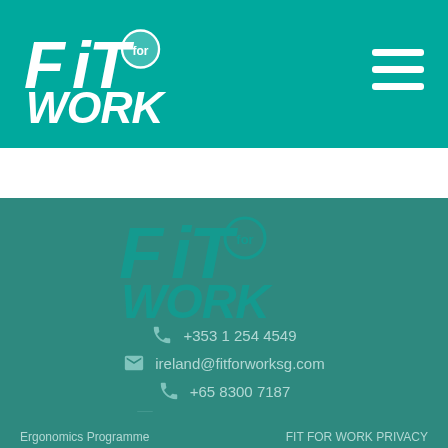[Figure (logo): Fit for Work logo in white on teal header bar]
[Figure (logo): Fit for Work watermark logo in teal on dark teal footer background]
+353 1 254 4549
ireland@fitforworksg.com
+65 8300 7187
info@fitforworksg.com
SERVICES
INFORMATION
Ergonomics Programme
FIT FOR WORK PRIVACY